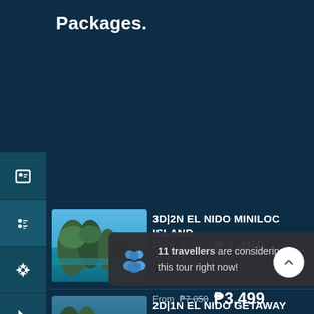Packages.
[Figure (screenshot): Left sidebar with icons: contact card, contacts list, settings gear, cursor/pointer, Twitter bird, Instagram camera]
[Figure (photo): Thumbnail of El Nido Miniloc Island - tropical limestone cliffs with turquoise water]
3D|2N EL NIDO MINILOC ISLAND
From ₱5,499 ₱3,499
[Figure (photo): Thumbnail of El Nido getaway - blue waters and cliffs]
2D|1N EL NIDO GETAWAY PACKAGE!
From ₱7,050 ₱3,499
11 travellers are considering this tour right now!